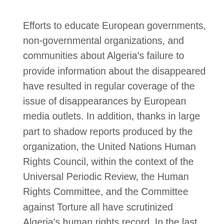Efforts to educate European governments, non-governmental organizations, and communities about Algeria's failure to provide information about the disappeared have resulted in regular coverage of the issue of disappearances by European media outlets. In addition, thanks in large part to shadow reports produced by the organization, the United Nations Human Rights Council, within the context of the Universal Periodic Review, the Human Rights Committee, and the Committee against Torture all have scrutinized Algeria's human rights record. In the last few years, the latter two bodies called on the Algerian authorities to take concrete measures to combat impunity; to investigate all cases of grave human rights abuses including forced disappearances, torture, and rape; to bring perpetrators to justice using methods that meet international standards for fair trials; to provide victims and their families with effective remedies and to bring national legislation in